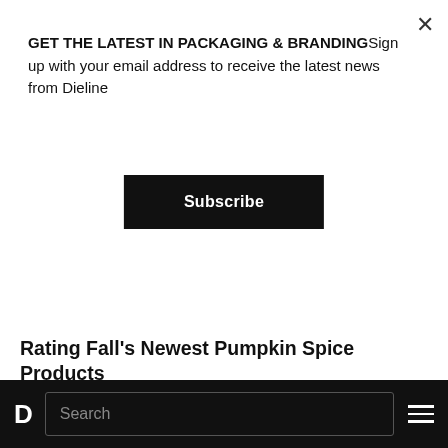GET THE LATEST IN PACKAGING & BRANDINGSign up with your email address to receive the latest news from Dieline
Subscribe
The Dieline Pumpkin Spice Scale: Honestly Rating Fall's Newest Pumpkin Spice Products
[Figure (photo): Two beverage cans placed on green moss — one smaller can with a yellow logo/mark, and one larger white can with a pink thumbs-up hand graphic and partial text 'SARA']
D  Search  ☰